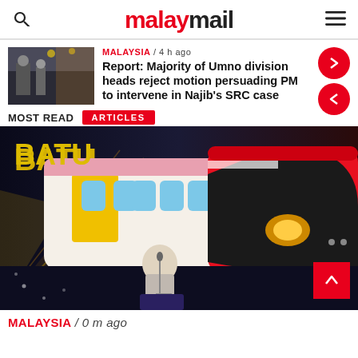malaymail
MALAYSIA / 4 h ago
Report: Majority of Umno division heads reject motion persuading PM to intervene in Najib's SRC case
MOST READ  ARTICLES
[Figure (photo): Man speaking at podium in front of large train graphic backdrop, at an event with BATU branding]
MALAYSIA / 0 m ago